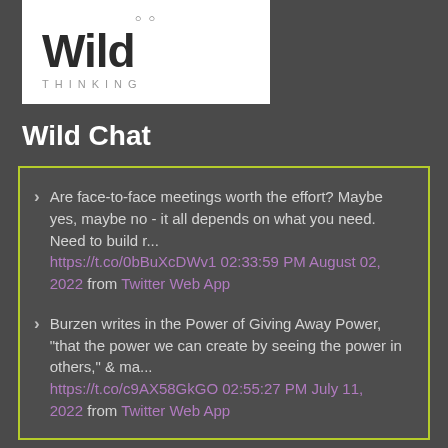[Figure (logo): Wild Thinking logo - stylized text 'Wild' in bold dark font with 'THINKING' in spaced letters below, on white background]
Wild Chat
Are face-to-face meetings worth the effort? Maybe yes, maybe no - it all depends on what you need. Need to build r... https://t.co/0bBuXcDWv1 02:33:59 PM August 02, 2022 from Twitter Web App
Burzen writes in the Power of Giving Away Power, "that the power we can create by seeing the power in others," & ma... https://t.co/c9AX58GkGO 02:55:27 PM July 11, 2022 from Twitter Web App